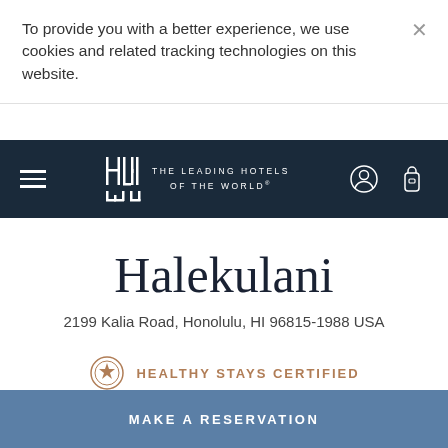To provide you with a better experience, we use cookies and related tracking technologies on this website.
[Figure (logo): The Leading Hotels of the World logo with LHW monogram and navigation bar on dark navy background]
Halekulani
2199 Kalia Road, Honolulu, HI 96815-1988 USA
HEALTHY STAYS CERTIFIED
MAKE A RESERVATION